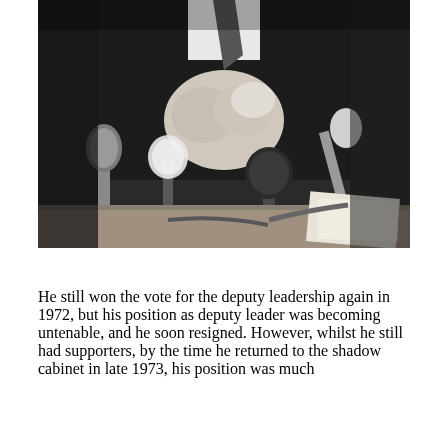[Figure (photo): Black and white photograph of a man in a suit at a press conference, with multiple microphones in the foreground. The man appears to be speaking or gesturing with his hands clasped, wearing a dark suit and tie.]
He still won the vote for the deputy leadership again in 1972, but his position as deputy leader was becoming untenable, and he soon resigned. However, whilst he still had supporters, by the time he returned to the shadow cabinet in late 1973, his position was much